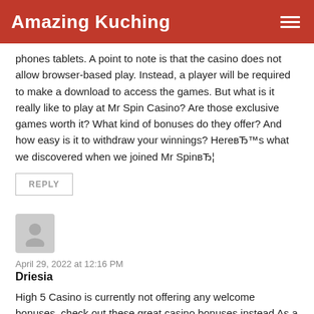Amazing Kuching
phones tablets. A point to note is that the casino does not allow browser-based play. Instead, a player will be required to make a download to access the games. But what is it really like to play at Mr Spin Casino? Are those exclusive games worth it? What kind of bonuses do they offer? And how easy is it to withdraw your winnings? НereвЂ™s what we discovered when we joined Mr SpinвЂ¦
REPLY
[Figure (illustration): Generic user avatar icon - grey silhouette of a person on a grey background square]
April 29, 2022 at 12:16 PM
Driesia
High 5 Casino is currently not offering any welcome bonuses, check out these great casino bonuses instead As a social casino